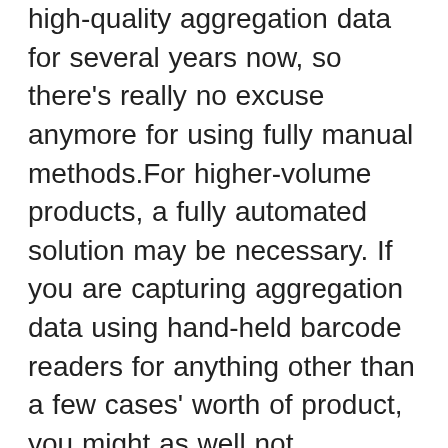high-quality aggregation data for several years now, so there's really no excuse anymore for using fully manual methods.For higher-volume products, a fully automated solution may be necessary. If you are capturing aggregation data using hand-held barcode readers for anything other than a few cases' worth of product, you might as well not bother.When downstream wholesale distributors and large dispensers receive your aggregation data, they will use it for various purposes.In the US, that includes saleable returns verification, and they will pass your data on to their customer for their use when they sell full-case quantities.In 2023, aggregation data accuracy will be even more critical in the U.S. Next year in the EU, your aggregation data will be used to mass verify